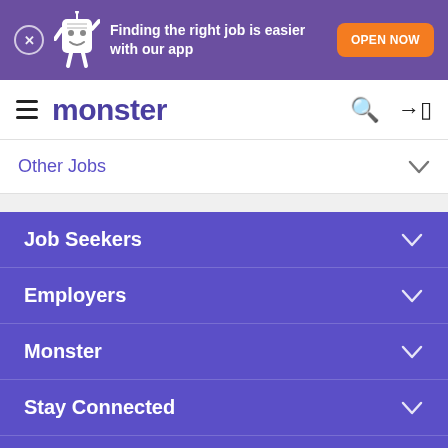[Figure (screenshot): Monster job search app promotional banner with mascot character, text 'Finding the right job is easier with our app', and orange 'OPEN NOW' button]
monster
Other Jobs
Job Seekers
Employers
Monster
Stay Connected
Legal
Sort Relevance | Filter 1015 Jobs